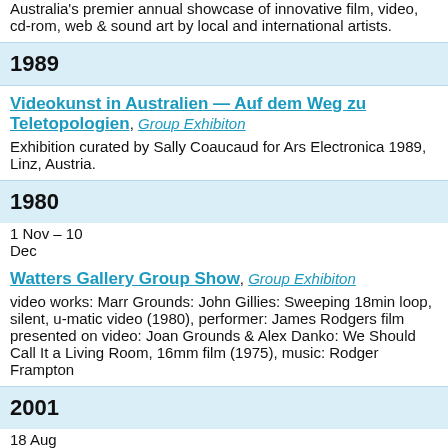Australia's premier annual showcase of innovative film, video, cd-rom, web & sound art by local and international artists.
1989
Videokunst in Australien — Auf dem Weg zu Teletopologien, Group Exhibiton
Exhibition curated by Sally Coaucaud for Ars Electronica 1989, Linz, Austria.
1980
1 Nov – 10 Dec
Watters Gallery Group Show, Group Exhibiton
video works: Marr Grounds: John Gillies: Sweeping 18min loop, silent, u-matic video (1980), performer: James Rodgers film presented on video: Joan Grounds & Alex Danko: We Should Call It a Living Room, 16mm film (1975), music: Rodger Frampton
2001
18 Aug